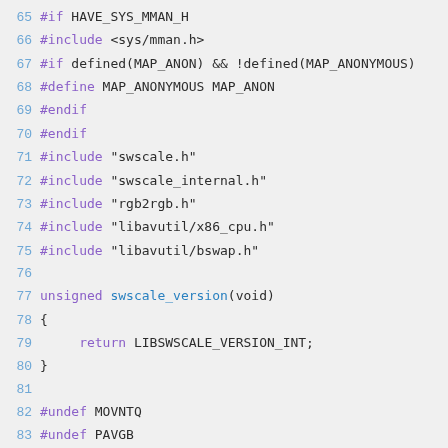[Figure (screenshot): Source code viewer showing C/C++ code lines 65-89 with syntax highlighting. Line numbers in blue on left, preprocessor directives in dark text, keywords in purple/blue, function name in blue, commented-out lines in italic gray.]